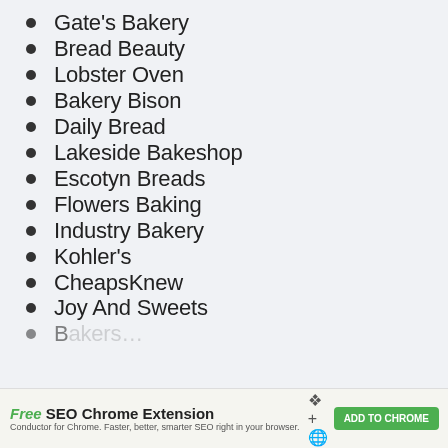Gate's Bakery
Bread Beauty
Lobster Oven
Bakery Bison
Daily Bread
Lakeside Bakeshop
Escotyn Breads
Flowers Baking
Industry Bakery
Kohler's
CheapsKnew
Joy And Sweets
Free SEO Chrome Extension — Conductor for Chrome. Faster, better, smarter SEO right in your browser. ADD TO CHROME